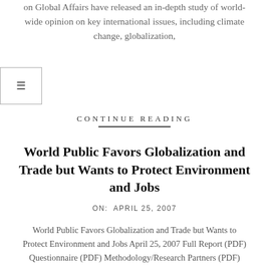WorldPublicOpinion.org and The Chicago Council on Global Affairs have released an in-depth study of world-wide opinion on key international issues, including climate change, globalization,
CONTINUE READING
World Public Favors Globalization and Trade but Wants to Protect Environment and Jobs
ON:  APRIL 25, 2007
World Public Favors Globalization and Trade but Wants to Protect Environment and Jobs April 25, 2007 Full Report (PDF) Questionnaire (PDF) Methodology/Research Partners (PDF) Majorities around the world believe economic